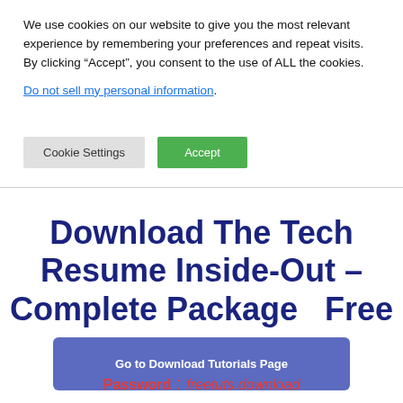We use cookies on our website to give you the most relevant experience by remembering your preferences and repeat visits. By clicking “Accept”, you consent to the use of ALL the cookies.
Do not sell my personal information.
[Figure (other): Cookie Settings and Accept buttons]
Download The Tech Resume Inside-Out – Complete Package  Free
[Figure (other): Go to Download Tutorials Page button]
Password : freetuts.download